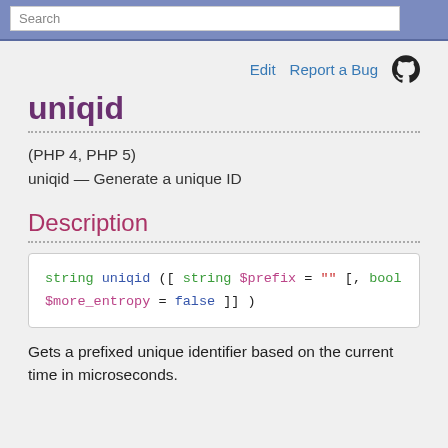Search
Edit   Report a Bug
uniqid
(PHP 4, PHP 5)
uniqid — Generate a unique ID
Description
[Figure (other): Code signature box: string uniqid ([ string $prefix = "" [, bool $more_entropy = false ]] )]
Gets a prefixed unique identifier based on the current time in microseconds.